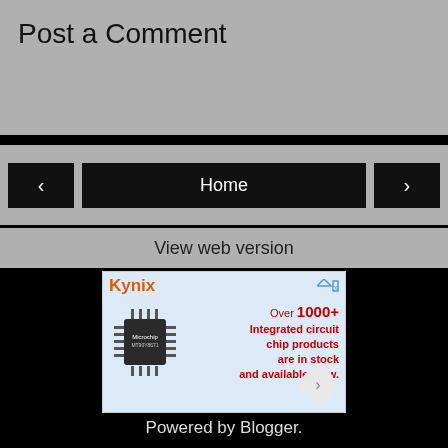Post a Comment
Home
View web version
[Figure (screenshot): Kynix advertisement showing a microchip with text: Over 1000+ Integrated circuit chip products are in stock and available now.]
Powered by Blogger.